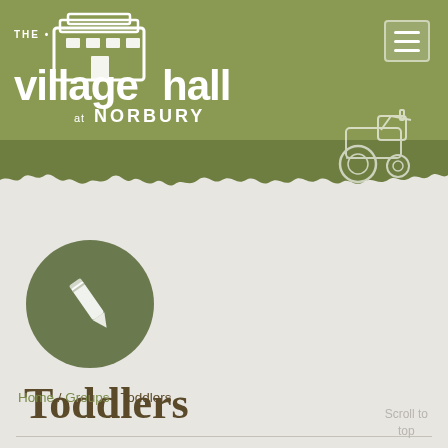[Figure (logo): The Village Hall at Norbury logo with white building icon and text on green background]
[Figure (illustration): Tractor outline illustration in white on green background, top right area]
[Figure (illustration): Pencil icon in white on dark green circular background]
Toddlers
Home / Groups / Toddlers
Scroll to top